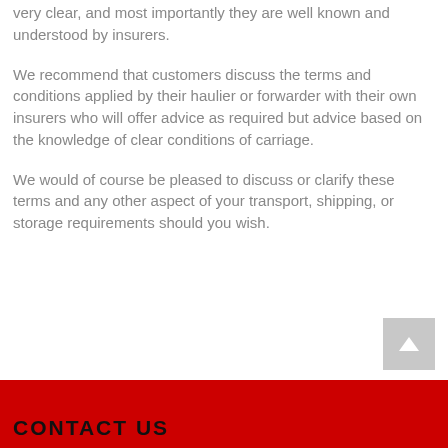very clear, and most importantly they are well known and understood by insurers.
We recommend that customers discuss the terms and conditions applied by their haulier or forwarder with their own insurers who will offer advice as required but advice based on the knowledge of clear conditions of carriage.
We would of course be pleased to discuss or clarify these terms and any other aspect of your transport, shipping, or storage requirements should you wish.
CONTACT US